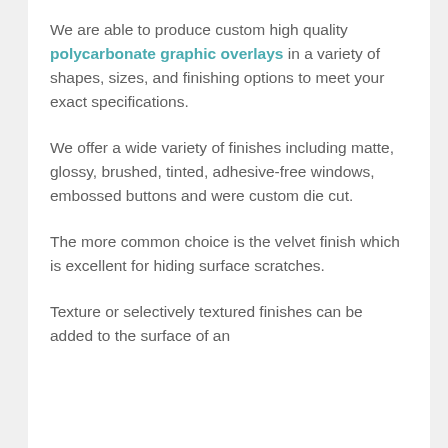We are able to produce custom high quality polycarbonate graphic overlays in a variety of shapes, sizes, and finishing options to meet your exact specifications.
We offer a wide variety of finishes including matte, glossy, brushed, tinted, adhesive-free windows, embossed buttons and were custom die cut.
The more common choice is the velvet finish which is excellent for hiding surface scratches.
Texture or selectively textured finishes can be added to the surface of an